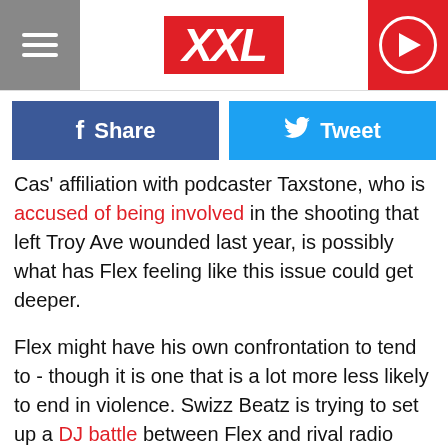XXL
[Figure (other): Facebook Share and Twitter Tweet social buttons]
Cas' affiliation with podcaster Taxstone, who is accused of being involved in the shooting that left Troy Ave wounded last year, is possibly what has Flex feeling like this issue could get deeper.
Flex might have his own confrontation to tend to - though it is one that is a lot more less likely to end in violence. Swizz Beatz is trying to set up a DJ battle between Flex and rival radio record spinner, DJ Clue.
Check out Flex's tweets below.
Tweets  Tweets & replies  Media